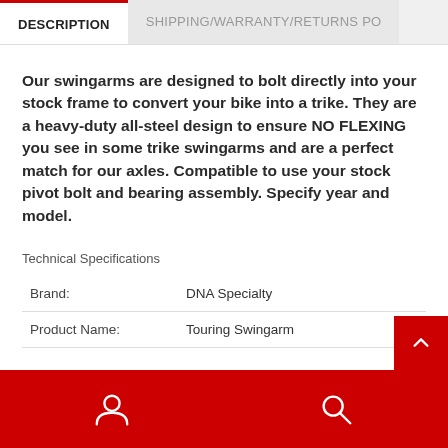DESCRIPTION | SHIPPING/WARRANTY/RETURNS PO
Our swingarms are designed to bolt directly into your stock frame to convert your bike into a trike. They are a heavy-duty all-steel design to ensure NO FLEXING you see in some trike swingarms and are a perfect match for our axles. Compatible to use your stock pivot bolt and bearing assembly. Specify year and model.
Technical Specifications
|  |  |
| --- | --- |
| Brand: | DNA Specialty |
| Product Name: | Touring Swingarm |